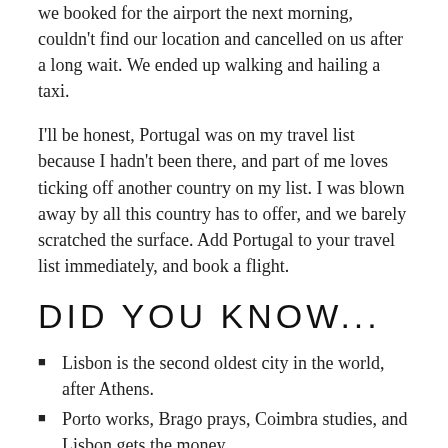we booked for the airport the next morning, couldn't find our location and cancelled on us after a long wait. We ended up walking and hailing a taxi.
I'll be honest, Portugal was on my travel list because I hadn't been there, and part of me loves ticking off another country on my list. I was blown away by all this country has to offer, and we barely scratched the surface. Add Portugal to your travel list immediately, and book a flight.
DID YOU KNOW...
Lisbon is the second oldest city in the world, after Athens.
Porto works, Brago prays, Coimbra studies, and Lisbon gets the money.
Lisbon was hit by an earthquake, a fire and a tsunami on all Saints Day (1st November) in 1755. The